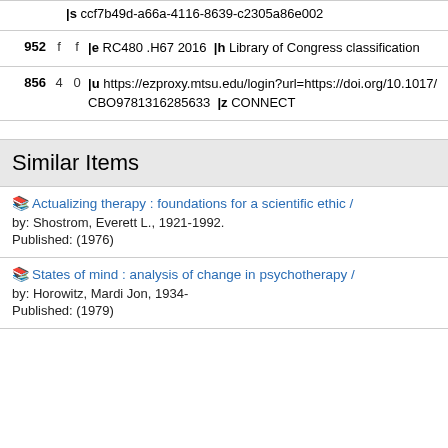|  |  |  | |s ccf7b49d-a66a-4116-8639-c2305a86e002 |
| 952 | f | f | |e RC480 .H67 2016 |h Library of Congress classification |
| 856 | 4 | 0 | |u https://ezproxy.mtsu.edu/login?url=https://doi.org/10.1017/CBO9781316285633 |z CONNECT |
Similar Items
Actualizing therapy : foundations for a scientific ethic /
by: Shostrom, Everett L., 1921-1992.
Published: (1976)
States of mind : analysis of change in psychotherapy /
by: Horowitz, Mardi Jon, 1934-
Published: (1979)